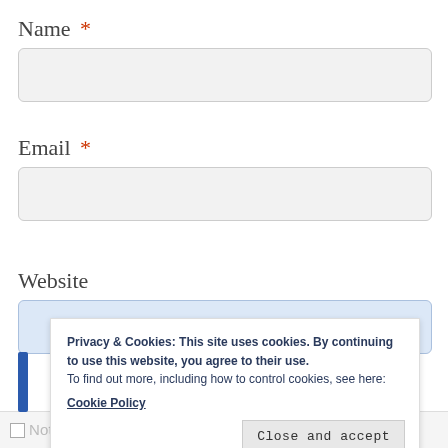Name *
Email *
Website
Privacy & Cookies: This site uses cookies. By continuing to use this website, you agree to their use. To find out more, including how to control cookies, see here: Cookie Policy
Close and accept
Notify me of new comments via email.